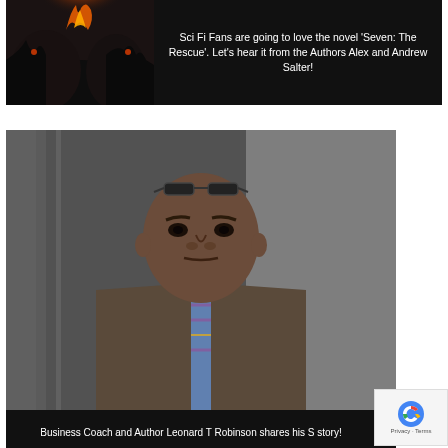[Figure (photo): Dark promotional banner with a fiery/dark fantasy image on the left and white text on dark background on the right, advertising 'Seven: The Rescue' novel]
Sci Fi Fans are going to love the novel 'Seven: The Rescue'. Let's hear it from the Authors Alex and Andrew Salter!
[Figure (photo): Black banner containing a portrait photo of a Black man wearing a gray vest, white dress shirt, and striped tie, with glasses on his head, against a gray curtain background]
Business Coach and Author Leonard T Robinson shares his S story!